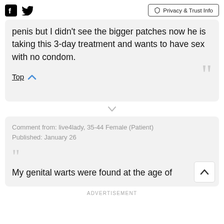Privacy & Trust Info
penis but I didn't see the bigger patches now he is taking this 3-day treatment and wants to have sex with no condom.
Top
Comment from: live4lady, 35-44 Female (Patient)
Published: January 26
My genital warts were found at the age of
ADVERTISEMENT